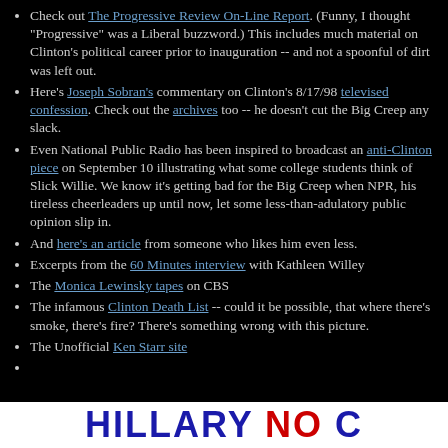Check out The Progressive Review On-Line Report. (Funny, I thought "Progressive" was a Liberal buzzword.) This includes much material on Clinton's political career prior to inauguration -- and not a spoonful of dirt was left out.
Here's Joseph Sobran's commentary on Clinton's 8/17/98 televised confession. Check out the archives too -- he doesn't cut the Big Creep any slack.
Even National Public Radio has been inspired to broadcast an anti-Clinton piece on September 10 illustrating what some college students think of Slick Willie. We know it's getting bad for the Big Creep when NPR, his tireless cheerleaders up until now, let some less-than-adulatory public opinion slip in.
And here's an article from someone who likes him even less.
Excerpts from the 60 Minutes interview with Kathleen Willey
The Monica Lewinsky tapes on CBS
The infamous Clinton Death List -- could it be possible, that where there's smoke, there's fire? There's something wrong with this picture.
The Unofficial Ken Starr site
[Figure (other): Banner image reading HILLARY NO C... in large blue and red block letters on white background]